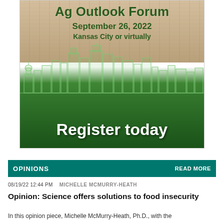[Figure (illustration): Ag Outlook Forum advertisement banner. Wood-grain background at top with green city skyline silhouette and green crop field in foreground. Text reads: Ag Outlook Forum, September 26, 2022, Kansas City or virtually, Register today.]
OPINIONS    READ MORE
08/19/22 12:44 PM   MICHELLE MCMURRY-HEATH
Opinion: Science offers solutions to food insecurity
In this opinion piece, Michelle McMurry-Heath, Ph.D., with the